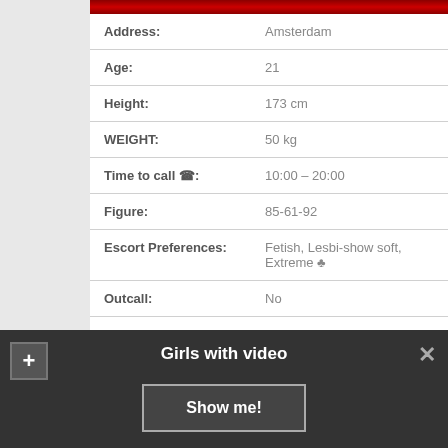[Figure (photo): Decorative header image with red floral/dark pattern]
| Address: | Amsterdam |
| Age: | 21 |
| Height: | 173 cm |
| WEIGHT: | 50 kg |
| Time to call ☎: | 10:00 – 20:00 |
| Figure: | 85-61-92 |
| Escort Preferences: | Fetish, Lesbi-show soft, Extreme ♣ |
| Outcall: | No |
| One HOUR: | 80$ |
| Without condom: | 330$ |
Girls with video
Show me!